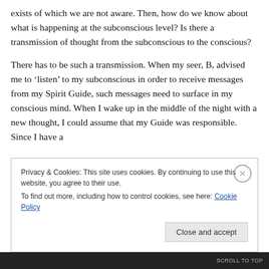exists of which we are not aware. Then, how do we know about what is happening at the subconscious level? Is there a transmission of thought from the subconscious to the conscious?
There has to be such a transmission. When my seer, B, advised me to 'listen' to my subconscious in order to receive messages from my Spirit Guide, such messages need to surface in my conscious mind. When I wake up in the middle of the night with a new thought, I could assume that my Guide was responsible. Since I have a
Privacy & Cookies: This site uses cookies. By continuing to use this website, you agree to their use.
To find out more, including how to control cookies, see here: Cookie Policy
Close and accept
SCROLL TO TOP